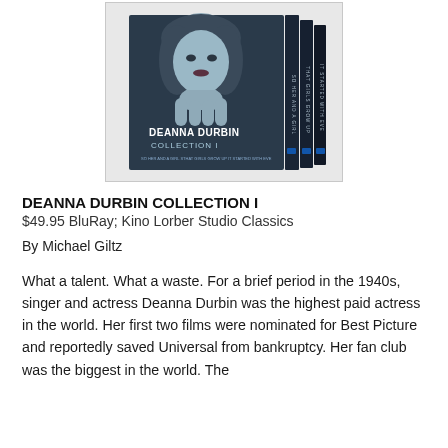[Figure (photo): Product image of the Deanna Durbin Collection I Blu-ray box set showing a woman's face on the front and Blu-ray cases behind it]
DEANNA DURBIN COLLECTION I
$49.95 BluRay; Kino Lorber Studio Classics
By Michael Giltz
What a talent. What a waste. For a brief period in the 1940s, singer and actress Deanna Durbin was the highest paid actress in the world. Her first two films were nominated for Best Picture and reportedly saved Universal from bankruptcy. Her fan club was the biggest in the world. The